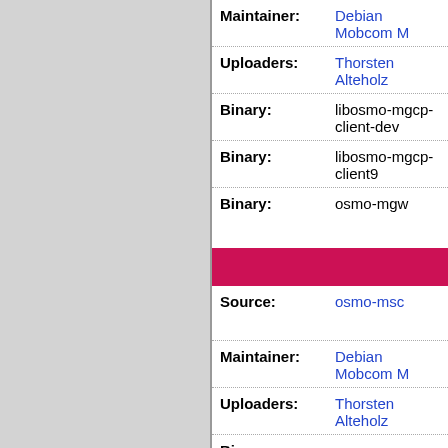| Field | Value |
| --- | --- |
| Maintainer: | Debian Mobcom M… |
| Uploaders: | Thorsten Alteholz… |
| Binary: | libosmo-mgcp-client-dev |
| Binary: | libosmo-mgcp-client9 |
| Binary: | osmo-mgw |
| Source: | osmo-msc |
| Maintainer: | Debian Mobcom M… |
| Uploaders: | Thorsten Alteholz… |
| Binary: | osmo-msc |
| Source: | osmo-pcu |
| Maintainer: | Debian Mobcom M… |